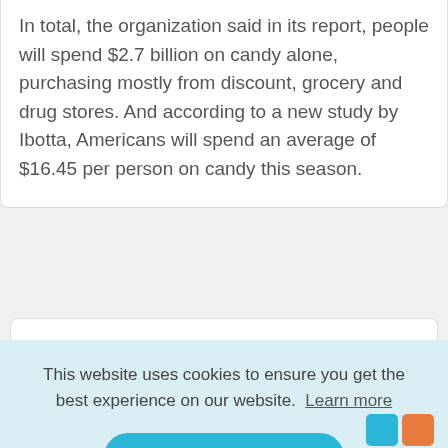In total, the organization said in its report, people will spend $2.7 billion on candy alone, purchasing mostly from discount, grocery and drug stores. And according to a new study by Ibotta, Americans will spend an average of $16.45 per person on candy this season.
This website uses cookies to ensure you get the best experience on our website. Learn more
Got it!